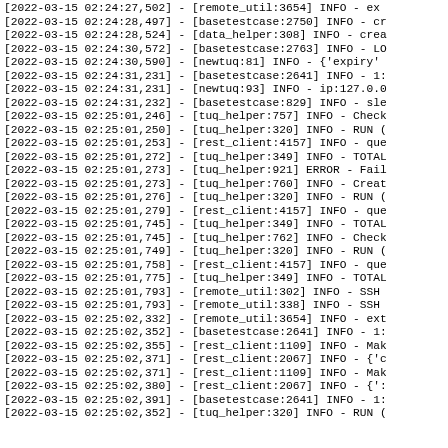Log output lines from 2022-03-15 02:24:27 to 02:25:02 showing timestamps, module names, log levels, and truncated messages.